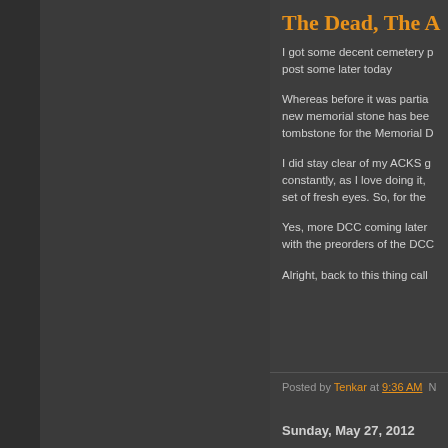The Dead, The A...
I got some decent cemetery ... post some later today
Whereas before it was partia... new memorial stone has bee... tombstone for the Memorial D...
I did stay clear of my ACKS g... constantly, as I love doing it, ... set of fresh eyes. So, for the ...
Yes, more DCC coming later... with the preorders of the DCC...
Alright, back to this thing call...
Posted by Tenkar at 9:36 AM  N...
Sunday, May 27, 2012